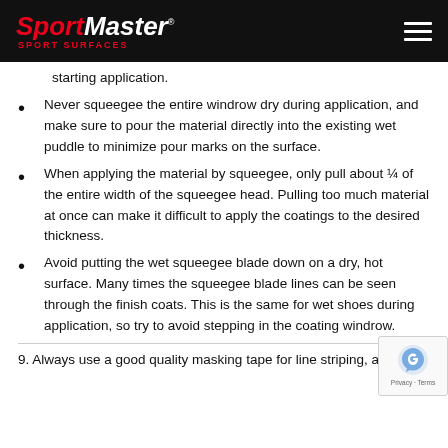SportMaster SPORT SURFACES
starting application.
Never squeegee the entire windrow dry during application, and make sure to pour the material directly into the existing wet puddle to minimize pour marks on the surface.
When applying the material by squeegee, only pull about ¼ of the entire width of the squeegee head. Pulling too much material at once can make it difficult to apply the coatings to the desired thickness.
Avoid putting the wet squeegee blade down on a dry, hot surface. Many times the squeegee blade lines can be seen through the finish coats. This is the same for wet shoes during application, so try to avoid stepping in the coating windrow.
9. Always use a good quality masking tape for line striping, along